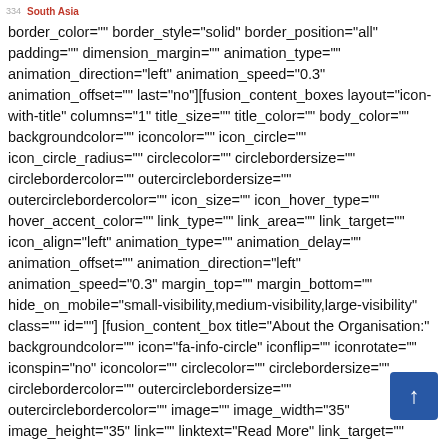South Asia
border_color="" border_style="solid" border_position="all" padding="" dimension_margin="" animation_type="" animation_direction="left" animation_speed="0.3" animation_offset="" last="no"][fusion_content_boxes layout="icon-with-title" columns="1" title_size="" title_color="" body_color="" backgroundcolor="" iconcolor="" icon_circle="" icon_circle_radius="" circlecolor="" circlebordersize="" circlebordercolor="" outercirclebordersize="" outercirclebordercolor="" icon_size="" icon_hover_type="" hover_accent_color="" link_type="" link_area="" link_target="" icon_align="left" animation_type="" animation_delay="" animation_offset="" animation_direction="left" animation_speed="0.3" margin_top="" margin_bottom="" hide_on_mobile="small-visibility,medium-visibility,large-visibility" class="" id=""] [fusion_content_box title="About the Organisation:" backgroundcolor="" icon="fa-info-circle" iconflip="" iconrotate="" iconspin="no" iconcolor="" circlecolor="" circlebordersize="" circlebordercolor="" outercirclebordersize="" outercirclebordercolor="" image="" image_width="35" image_height="35" link="" linktext="Read More" link_target="" animation_type="" animation_direction="left" animation_speed="0.3" animation_offset=""]